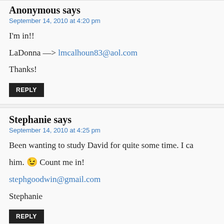Anonymous says
September 14, 2010 at 4:20 pm
I'm in!!
LaDonna —> lmcalhoun83@aol.com
Thanks!
REPLY
Stephanie says
September 14, 2010 at 4:25 pm
Been wanting to study David for quite some time. I ca him. 😉 Count me in!
stephgoodwin@gmail.com
Stephanie
REPLY